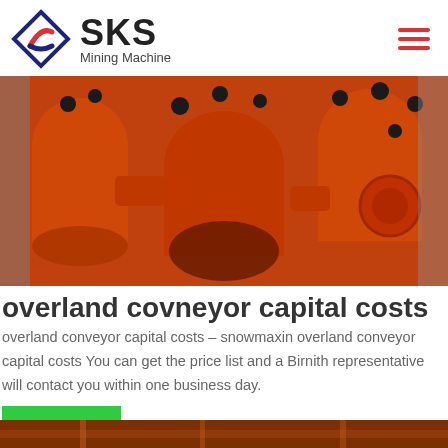SKS Mining Machine
[Figure (photo): Close-up photo of orange-painted heavy mining machine parts with black bolt fittings]
overland covneyor capital costs
overland conveyor capital costs – snowmaxin overland conveyor capital costs You can get the price list and a Birnith representative will contact you within one business day.
[Figure (photo): Bottom strip showing orange mining equipment machinery]